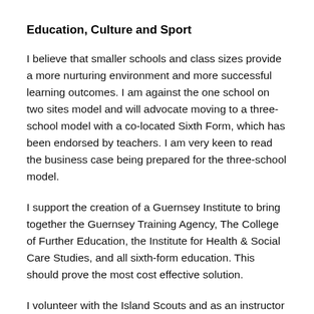Education, Culture and Sport
I believe that smaller schools and class sizes provide a more nurturing environment and more successful learning outcomes. I am against the one school on two sites model and will advocate moving to a three-school model with a co-located Sixth Form, which has been endorsed by teachers. I am very keen to read the business case being prepared for the three-school model.
I support the creation of a Guernsey Institute to bring together the Guernsey Training Agency, The College of Further Education, the Institute for Health & Social Care Studies, and all sixth-form education. This should prove the most cost effective solution.
I volunteer with the Island Scouts and as an instructor of junior sailing and believe in the importance of sport and the arts.